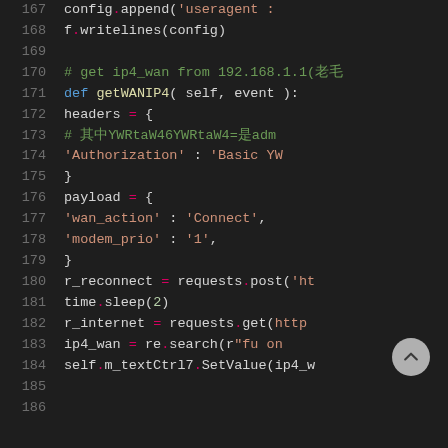[Figure (screenshot): Python source code editor screenshot showing lines 167-186 with dark theme. Lines include config.append, f.writelines, a comment about ip4_wan from 192.168.1.1, def getWANIP4 function definition, headers dict with Authorization, payload dict with wan_action and modem_prio, r_reconnect, time.sleep, r_internet, ip4_wan, self.m_textCtrl7.SetValue calls. A scroll-to-top button overlays lines 182-183.]